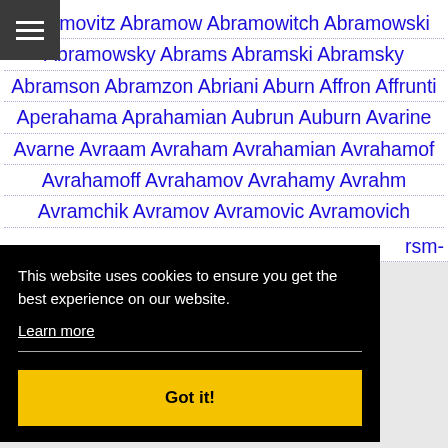Abramovitz Abramow Abramowitch Abramowski Abramowsky Abrams Abramski Abramsky Abramson Abramzon Abriani Aburn Affron Affrunti Aperahama Aprahamian Aubrun Auburn Avarine Avarne Avraam Avraham Avrahamian Avrahamof Avrahamoff Avrahamov Avrahamy Avrahm Avramchik Avramov Avramovic Avramovich rsm-
This website uses cookies to ensure you get the best experience on our website.
Learn more
Got it!